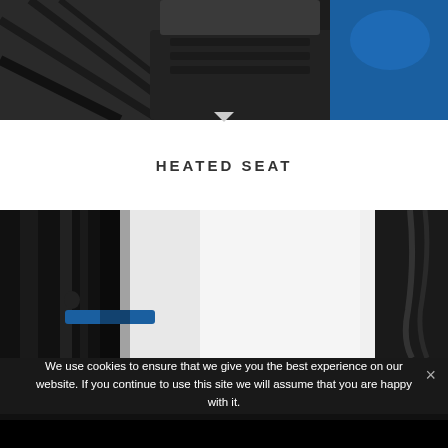[Figure (photo): Close-up photo of a heated seat component showing black and blue parts of a vehicle seat/arm]
HEATED SEAT
[Figure (photo): Close-up photo showing the frame/structure of a seat with black metal bars and blue accent on the left side, white background visible]
We use cookies to ensure that we give you the best experience on our website. If you continue to use this site we will assume that you are happy with it.
Close   Read more